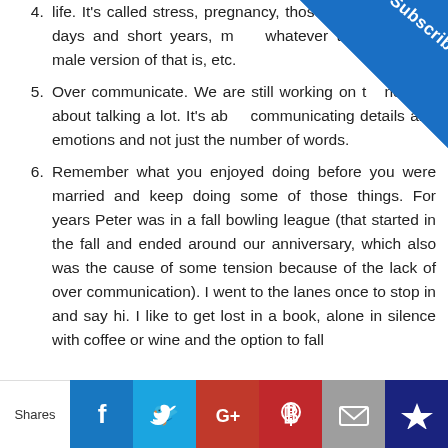(partial) life. It's called stress, pregnancy, those long days and short years, m... whatever the male version of that is, etc.
5. Over communicate. We are still working on this. It's not just about talking a lot. It's about communicating details and emotions and not just the number of words.
6. Remember what you enjoyed doing before you were married and keep doing some of those things. For years Peter was in a fall bowling league (that started in the fall and ended around our anniversary, which also was the cause of some tension because of the lack of over communication). I went to the lanes once to stop in and say hi. I like to get lost in a book, alone in silence with coffee or wine and the option to fall asleep.
[Figure (infographic): Subscribe ribbon banner in top-right corner, blue diagonal corner badge with 'Subscribe' text]
[Figure (infographic): Social sharing bar at bottom: Shares label, Facebook, Twitter, Google+, Pinterest, Email, Crown/bookmark buttons]